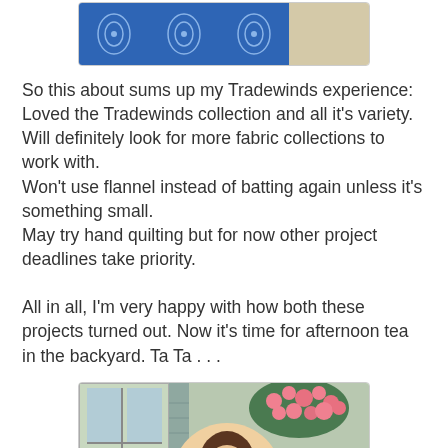[Figure (photo): Top portion of a blue patterned fabric quilt with a beige/tan section visible on the right side]
So this about sums up my Tradewinds experience:
Loved the Tradewinds collection and all it's variety.
Will definitely look for more fabric collections to work with.
Won't use flannel instead of batting again unless it's something small.
May try hand quilting but for now other project deadlines take priority.

All in all, I'm very happy with how both these projects turned out. Now it's time for afternoon tea in the backyard. Ta Ta . . .
[Figure (photo): A smiling woman with brown hair and glasses holding a quilt, standing in front of a window with pink flowers (impatiens) in the background on a porch or backyard setting]